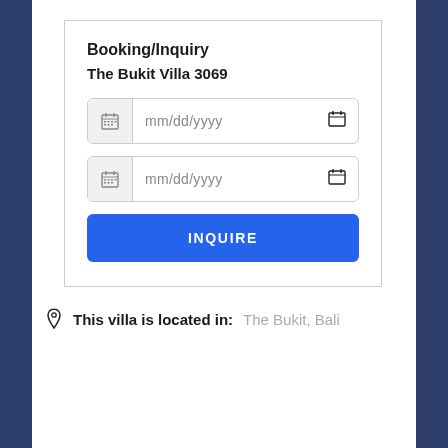Booking/Inquiry
The Bukit Villa 3069
[Figure (screenshot): Date input field with calendar icon showing placeholder mm/dd/yyyy (first field)]
[Figure (screenshot): Date input field with calendar icon showing placeholder mm/dd/yyyy (second field)]
[Figure (other): Blue INQUIRE button]
This villa is located in:  The Bukit, Bali